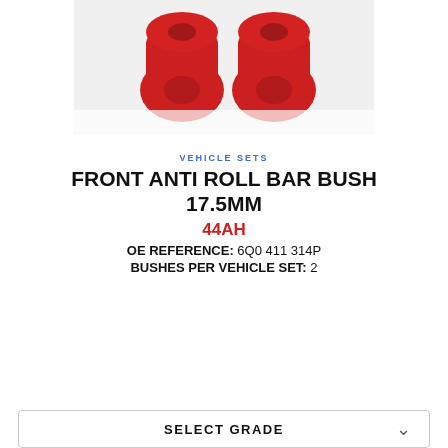[Figure (photo): Two red polyurethane anti roll bar bushes on a white background]
VEHICLE SETS
FRONT ANTI ROLL BAR BUSH 17.5MM
44AH
OE REFERENCE: 6Q0 411 314P
BUSHES PER VEHICLE SET: 2
SELECT GRADE